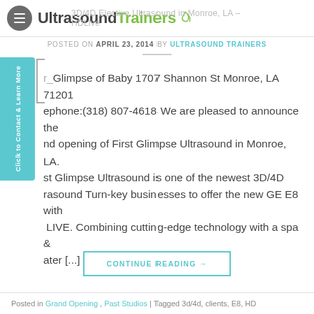3D/4D Elective Ultrasound in Monroe, LA – HDLive | UltrasoundTrainers
POSTED ON APRIL 23, 2014 BY ULTRASOUND TRAINERS
First Glimpse of Baby 1707 Shannon St Monroe, LA 71201 Telephone:(318) 807-4618 We are pleased to announce the grand opening of First Glimpse Ultrasound in Monroe, LA. First Glimpse Ultrasound is one of the newest 3D/4D Ultrasound Turn-key businesses to offer the new GE E8 with HD LIVE. Combining cutting-edge technology with a spa & cater [...]
CONTINUE READING →
Posted in Grand Opening, Past Studios | Tagged 3d/4d, clients, E8, HD